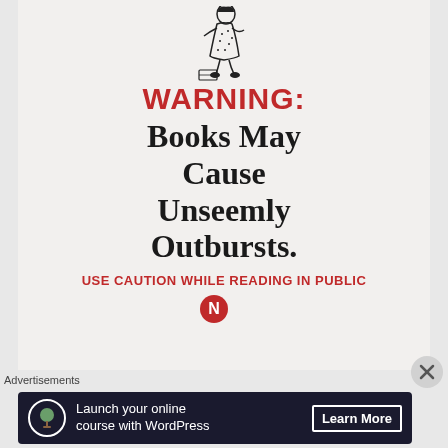[Figure (illustration): Black and white engraving-style illustration of a Victorian woman in a dress, bending down, appearing startled or reacting to something, with a small object on the ground beside her.]
WARNING:
Books May Cause Unseemly Outbursts.
USE CAUTION WHILE READING IN PUBLIC
[Figure (logo): Partial logo with red circle, partially cropped at bottom of poster]
Advertisements
[Figure (other): Advertisement banner: dark navy background with white circular icon (tree/bonsai), text 'Launch your online course with WordPress', and a 'Learn More' button.]